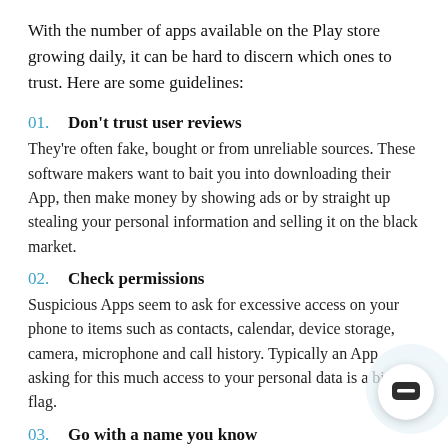With the number of apps available on the Play store growing daily, it can be hard to discern which ones to trust. Here are some guidelines:
01.  Don't trust user reviews
They're often fake, bought or from unreliable sources. These software makers want to bait you into downloading their App, then make money by showing ads or by straight up stealing your personal information and selling it on the black market.
02.  Check permissions
Suspicious Apps seem to ask for excessive access on your phone to items such as contacts, calendar, device storage, camera, microphone and call history. Typically an App asking for this much access to your personal data is a big red flag.
03.  Go with a name you know